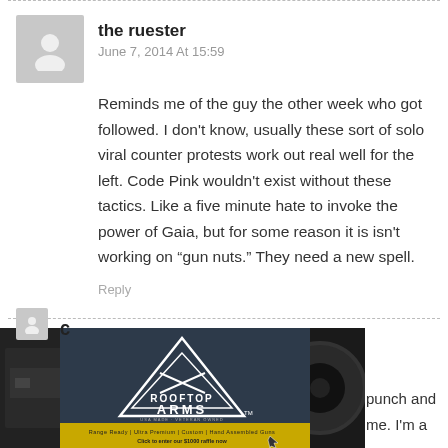the ruester
June 7, 2014 At 15:59
Reminds me of the guy the other week who got followed. I don't know, usually these sort of solo viral counter protests work out real well for the left. Code Pink wouldn't exist without these tactics. Like a five minute hate to invoke the power of Gaia, but for some reason it is isn't working on “gun nuts.” They need a new spell.
Reply
C
[Figure (photo): Advertisement banner for Rooftop Arms showing firearms and text: Range Ready | Ultra Premium | Custom | Hand Assembled Guns. Click to enter our $1000 raffle now. USA MADE - VETERAN OWNED]
punch and me. I'm a